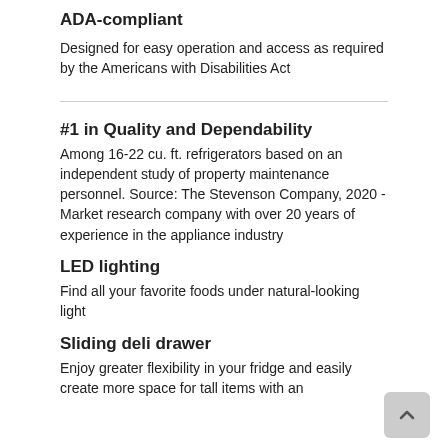ADA-compliant
Designed for easy operation and access as required by the Americans with Disabilities Act
#1 in Quality and Dependability
Among 16-22 cu. ft. refrigerators based on an independent study of property maintenance personnel. Source: The Stevenson Company, 2020 - Market research company with over 20 years of experience in the appliance industry
LED lighting
Find all your favorite foods under natural-looking light
Sliding deli drawer
Enjoy greater flexibility in your fridge and easily create more space for tall items with an